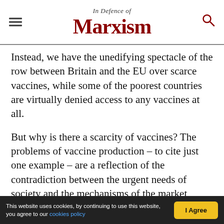In Defence of Marxism
Instead, we have the unedifying spectacle of the row between Britain and the EU over scarce vaccines, while some of the poorest countries are virtually denied access to any vaccines at all.
But why is there a scarcity of vaccines? The problems of vaccine production – to cite just one example – are a reflection of the contradiction between the urgent needs of society and the mechanisms of the market economy.
If we were really at war with the virus, governments would mobilise all their resources on
This website uses cookies, by continuing to use this website, you agree to our cookies policy  |  I Agree